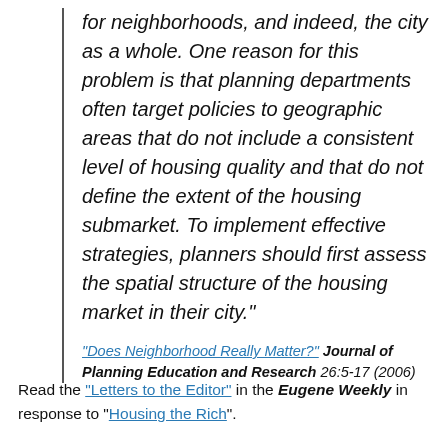for neighborhoods, and indeed, the city as a whole. One reason for this problem is that planning departments often target policies to geographic areas that do not include a consistent level of housing quality and that do not define the extent of the housing submarket. To implement effective strategies, planners should first assess the spatial structure of the housing market in their city."
"Does Neighborhood Really Matter?" Journal of Planning Education and Research 26:5-17 (2006)
Read the "Letters to the Editor" in the Eugene Weekly in response to "Housing the Rich".